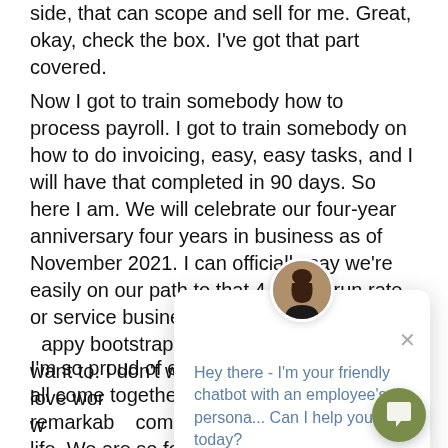side, that can scope and sell for me. Great, okay, check the box. I've got that part covered.
Now I got to train somebody how to process payroll. I got to train somebody on how to do invoicing, easy, easy tasks, and I will have that completed in 90 days. So here I am. We will celebrate our four-year anniversary four years in business as of November 2021. I can officially say we're easily on our path to that 4 million run rate or service business. We're profitabl ranny bootstrap did it all. No want to. I don't want t being here. I love wor thankful that this is w
[Figure (other): Chatbot popup window with avatar photo of a woman, a close (X) button, and the message: 'Hey there - I'm your friendly chatbot with an employee's persona... Can I help you today?']
I'm so proud of everybody and how we've all come together to build one of the most remarkab companies I've ever seen in my life. We are so fortunate. When we get to work with scaling
[Figure (other): Chatbot launcher button — olive/army green circular icon with a chat bubble symbol]